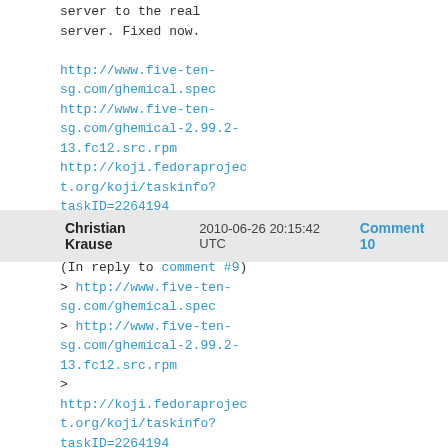server to the real
server. Fixed now.

http://www.five-ten-sg.com/ghemical.spec
http://www.five-ten-sg.com/ghemical-2.99.2-13.fc12.src.rpm
http://koji.fedoraproject.org/koji/taskinfo?taskID=2264194
Christian Krause    2010-06-26 20:15:42 UTC    Comment 10
(In reply to comment #9)
> http://www.five-ten-sg.com/ghemical.spec
> http://www.five-ten-sg.com/ghemical-2.99.2-13.fc12.src.rpm
>
> http://koji.fedoraproject.org/koji/taskinfo?taskID=2264194

I have reviewed the new
package and all issues